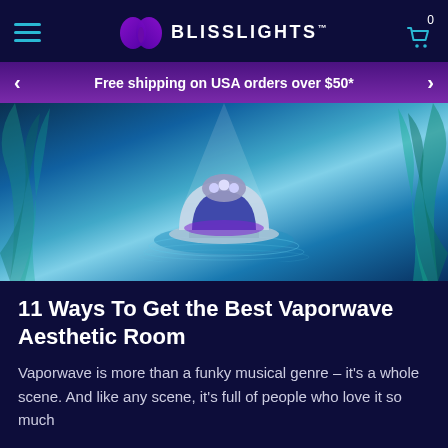BLISSLIGHTS
Free shipping on USA orders over $50*
[Figure (photo): BlissLights product device (dome-shaped light projector) displayed on a platform surrounded by blue-teal atmospheric lighting and tropical palm leaf silhouettes]
11 Ways To Get the Best Vaporwave Aesthetic Room
Vaporwave is more than a funky musical genre – it's a whole scene. And like any scene, it's full of people who love it so much that they decorate their home to reflect it.